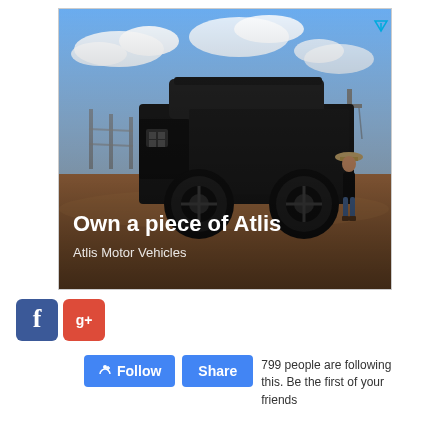[Figure (photo): Advertisement banner showing a large black armored-style pickup truck on a dirt road with a person in a cowboy hat standing beside it, under a blue sky with clouds. Text overlaid reads 'Own a piece of Atlis' and 'Atlis Motor Vehicles'. Ad icons (triangle and X) visible in top right corner of ad.]
[Figure (logo): Facebook logo icon (blue square with white 'f') and Google Plus logo icon (red square with white 'g+') side by side.]
799 people are following this. Be the first of your friends following it.